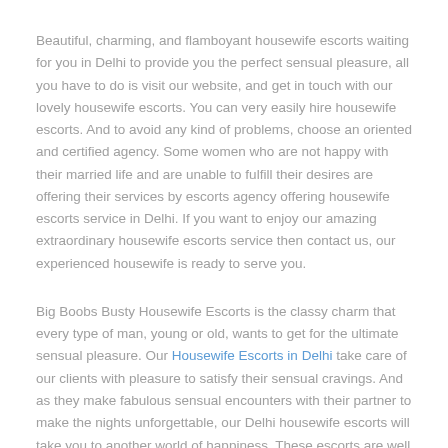Beautiful, charming, and flamboyant housewife escorts waiting for you in Delhi to provide you the perfect sensual pleasure, all you have to do is visit our website, and get in touch with our lovely housewife escorts. You can very easily hire housewife escorts. And to avoid any kind of problems, choose an oriented and certified agency. Some women who are not happy with their married life and are unable to fulfill their desires are offering their services by escorts agency offering housewife escorts service in Delhi. If you want to enjoy our amazing extraordinary housewife escorts service then contact us, our experienced housewife is ready to serve you.
Big Boobs Busty Housewife Escorts is the classy charm that every type of man, young or old, wants to get for the ultimate sensual pleasure. Our Housewife Escorts in Delhi take care of our clients with pleasure to satisfy their sensual cravings. And as they make fabulous sensual encounters with their partner to make the nights unforgettable, our Delhi housewife escorts will take you to another world of happiness. These escorts are well crafted to satisfy their customers. Delhi Housewife escorts specialist offering her sensual